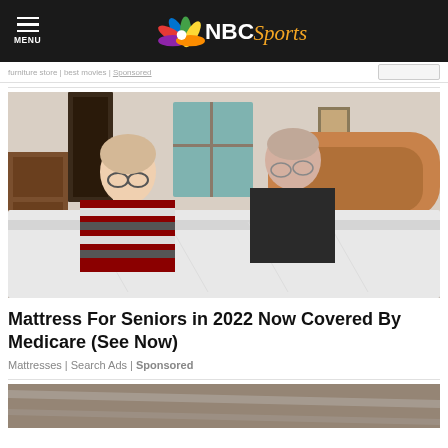MENU | NBC Sports
furniture store | best movies | Sponsored
[Figure (photo): Elderly couple making a bed with white mattress in a bedroom with wooden headboard]
Mattress For Seniors in 2022 Now Covered By Medicare (See Now)
Mattresses | Search Ads | Sponsored
[Figure (photo): Partial view of another article image at the bottom of page]